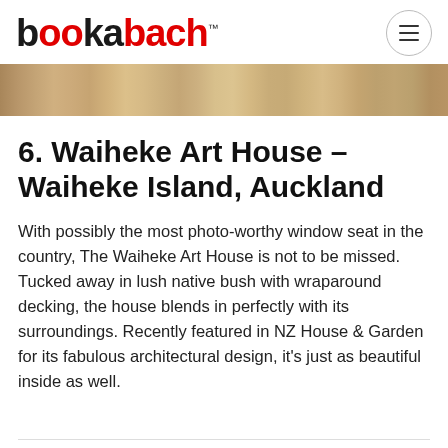bookabach™
[Figure (photo): Horizontal strip showing wooden slat wall texture in warm tan and brown tones]
6. Waiheke Art House – Waiheke Island, Auckland
With possibly the most photo-worthy window seat in the country, The Waiheke Art House is not to be missed. Tucked away in lush native bush with wraparound decking, the house blends in perfectly with its surroundings. Recently featured in NZ House & Garden for its fabulous architectural design, it's just as beautiful inside as well.